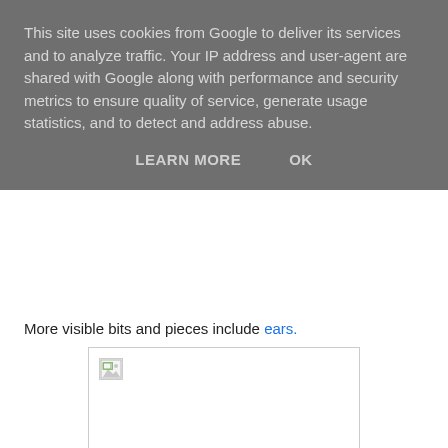This site uses cookies from Google to deliver its services and to analyze traffic. Your IP address and user-agent are shared with Google along with performance and security metrics to ensure quality of service, generate usage statistics, and to detect and address abuse.
LEARN MORE    OK
More visible bits and pieces include ears.
[Figure (photo): Broken image placeholder with small broken image icon in top-left corner, white background with gray border]
.. and eyes
[Figure (photo): Partial photo showing a pink/magenta crocheted item (appears to be eyes or a face piece for a crocheted toy) on a gray background, cropped at bottom of page]